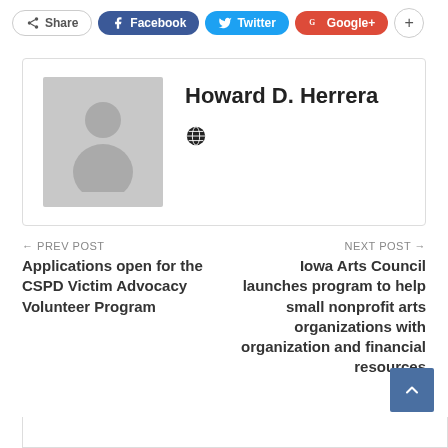[Figure (infographic): Social share buttons: Share (grey), Facebook (blue), Twitter (cyan), Google+ (red), and a plus (+) button]
[Figure (photo): Author profile card for Howard D. Herrera with a grey placeholder avatar image and a globe icon link]
Howard D. Herrera
← PREV POST
Applications open for the CSPD Victim Advocacy Volunteer Program
NEXT POST →
Iowa Arts Council launches program to help small nonprofit arts organizations with organization and financial resources